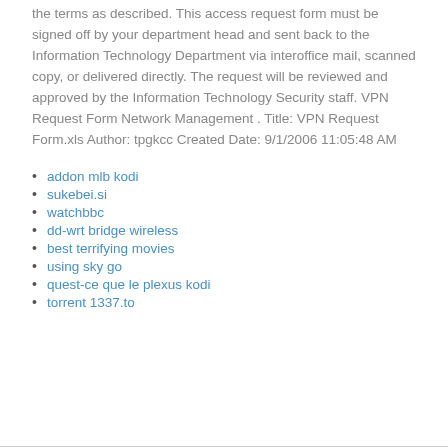the terms as described. This access request form must be signed off by your department head and sent back to the Information Technology Department via interoffice mail, scanned copy, or delivered directly. The request will be reviewed and approved by the Information Technology Security staff. VPN Request Form Network Management . Title: VPN Request Form.xls Author: tpgkcc Created Date: 9/1/2006 11:05:48 AM
addon mlb kodi
sukebei.si
watchbbc
dd-wrt bridge wireless
best terrifying movies
using sky go
quest-ce que le plexus kodi
torrent 1337.to